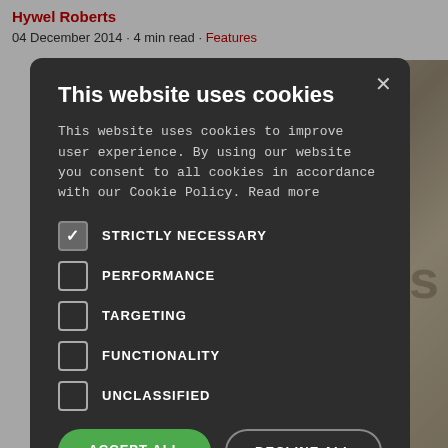Hywel Roberts
04 December 2014 · 4 min read · Features
[Figure (screenshot): Cookie consent modal dialog on a dark overlay, showing cookie categories with checkboxes (Strictly Necessary checked, Performance, Targeting, Functionality, Unclassified unchecked), Accept All and Decline All buttons, and a Show Details option.]
ness